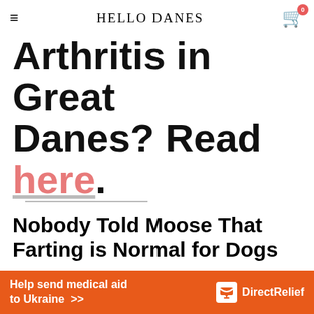HELLO DANES
Arthritis in Great Danes? Read here.
Nobody Told Moose That Farting is Normal for Dogs
Moose, many owners usually have the 'farting' talk with their dogs around the age of 12 weeks as just a wee little Great Dane puppy.
We are sorry that your family did not yet speak to you to inform you
[Figure (other): Orange ad banner: Help send medical aid to Ukraine >> with Direct Relief logo]